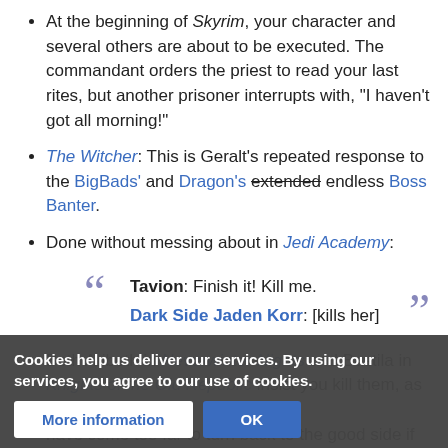At the beginning of Skyrim, your character and several others are about to be executed. The commandant orders the priest to read your last rites, but another prisoner interrupts with, "I haven't got all morning!"
The Witcher: This is Geralt's repeated response to the BigBads' and Dragon's extended [strikethrough] endless Boss Banter.
Done without messing about in Jedi Academy:

Tavion: Finish it! Kill me.
Dark Side Jaden Korr: [kills her]
Both Aribeth in Neverwinter Nights and Bastila in Knights of the Old Republic insist you kill them, as they have come too far to turn back to the good side if you persist in trying. However, both works being rather on the idealistic side, a ... ne back if you
Cookies help us deliver our services. By using our services, you agree to our use of cookies.